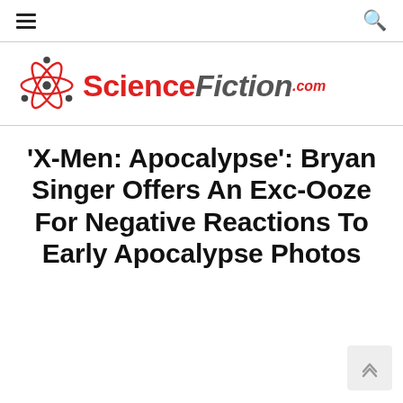navigation bar with hamburger menu and search icon
[Figure (logo): ScienceFiction.com logo with atom icon and red/grey text]
'X-Men: Apocalypse': Bryan Singer Offers An Exc-Ooze For Negative Reactions To Early Apocalypse Photos